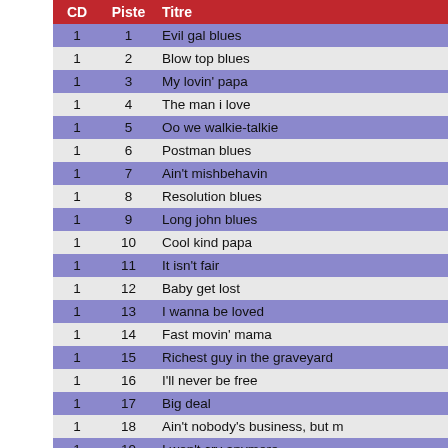| CD | Piste | Titre |
| --- | --- | --- |
| 1 | 1 | Evil gal blues |
| 1 | 2 | Blow top blues |
| 1 | 3 | My lovin' papa |
| 1 | 4 | The man i love |
| 1 | 5 | Oo we walkie-talkie |
| 1 | 6 | Postman blues |
| 1 | 7 | Ain't mishbehavin |
| 1 | 8 | Resolution blues |
| 1 | 9 | Long john blues |
| 1 | 10 | Cool kind papa |
| 1 | 11 | It isn't fair |
| 1 | 12 | Baby get lost |
| 1 | 13 | I wanna be loved |
| 1 | 14 | Fast movin' mama |
| 1 | 15 | Richest guy in the graveyard |
| 1 | 16 | I'll never be free |
| 1 | 17 | Big deal |
| 1 | 18 | Ain't nobody's business, but m |
| 1 | 19 | I won't cry anymore |
| 1 | 20 | Wheel of fortune |
| 1 | 21 | Trouble in mind |
| 2 | 1 | Pillow blues |